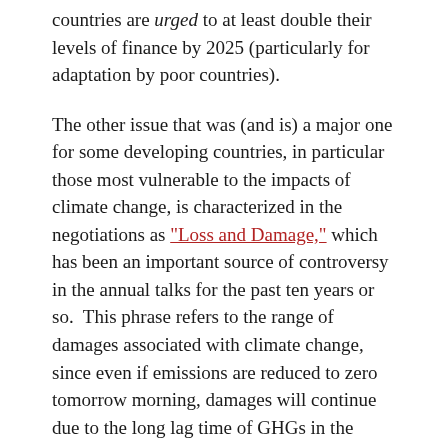countries are urged to at least double their levels of finance by 2025 (particularly for adaptation by poor countries).
The other issue that was (and is) a major one for some developing countries, in particular those most vulnerable to the impacts of climate change, is characterized in the negotiations as “Loss and Damage,” which has been an important source of controversy in the annual talks for the past ten years or so. This phrase refers to the range of damages associated with climate change, since even if emissions are reduced to zero tomorrow morning, damages will continue due to the long lag time of GHGs in the atmosphere,